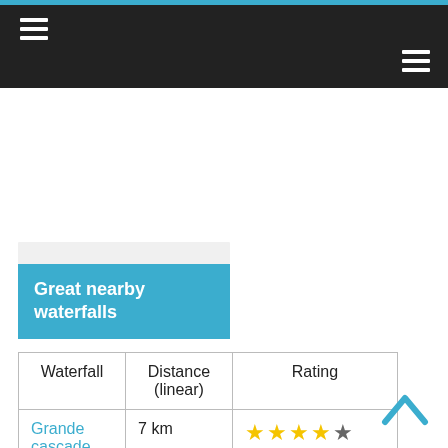Navigation bar with hamburger menus
Great nearby waterfalls
| Waterfall | Distance (linear) | Rating |
| --- | --- | --- |
| Grande cascade do | 7 km | ★★★★☆ |